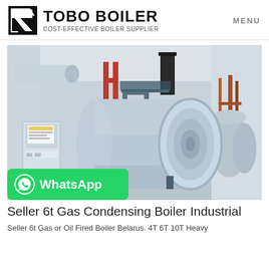TOBO BOILER COST-EFFECTIVE BOILER SUPPLIER | MENU
[Figure (photo): Industrial boiler room with large horizontal cylindrical gas/oil-fired boilers on supports, red vertical pipes, silver ductwork on ceiling, metal access ladder and platform, background smaller boilers, copper pipes on right wall, white walls and concrete floor]
Seller 6t Gas Condensing Boiler Industrial
Seller 6t Gas or Oil Fired Boiler Belarus. 4T 6T 10T Heavy